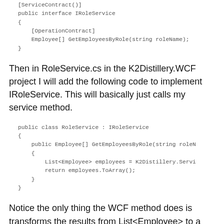[ServiceContract()]
public interface IRoleService
{
    [OperationContract]
    Employee[] GetEmployeesByRole(string roleName);
}
Then in RoleService.cs in the K2Distillery.WCF project I will add the following code to implement IRoleService. This will basically just calls my service method.
public class RoleService : IRoleService
{
    public Employee[] GetEmployeesByRole(string roleN
    {
        List<Employee> employees = K2Distillery.Servi
        return employees.ToArray();
    }
}
Notice the only thing the WCF method does is transforms the results from List<Employee> to a Employee[]. This is required because .NET Generic lists cannot go across platform boundaries and must be transformed into a simple array. It could be argued by the SOA zealots that my service layer should be content and the scheme it is a service...